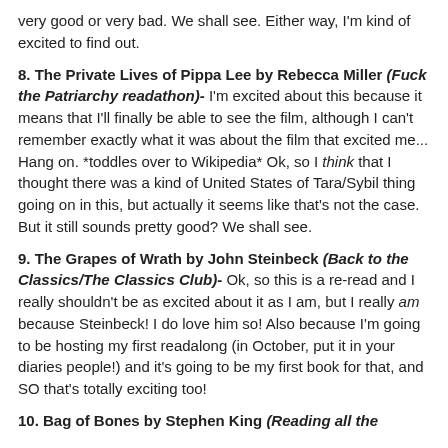very good or very bad. We shall see. Either way, I'm kind of excited to find out.
8. The Private Lives of Pippa Lee by Rebecca Miller (Fuck the Patriarchy readathon)- I'm excited about this because it means that I'll finally be able to see the film, although I can't remember exactly what it was about the film that excited me... Hang on. *toddles over to Wikipedia* Ok, so I think that I thought there was a kind of United States of Tara/Sybil thing going on in this, but actually it seems like that's not the case. But it still sounds pretty good? We shall see.
9. The Grapes of Wrath by John Steinbeck (Back to the Classics/The Classics Club)- Ok, so this is a re-read and I really shouldn't be as excited about it as I am, but I really am because Steinbeck! I do love him so! Also because I'm going to be hosting my first readalong (in October, put it in your diaries people!) and it's going to be my first book for that, and SO that's totally exciting too!
10. Bag of Bones by Stephen King (Reading all the